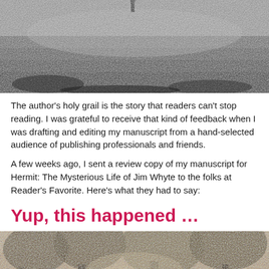[Figure (photo): Black and white photograph of a figure standing in a grassy field or lawn, viewed from a distance]
The author's holy grail is the story that readers can't stop reading. I was grateful to receive that kind of feedback when I was drafting and editing my manuscript from a hand-selected audience of publishing professionals and friends.
A few weeks ago, I sent a review copy of my manuscript for Hermit: The Mysterious Life of Jim Whyte to the folks at Reader's Favorite. Here's what they had to say:
Yup, this happened …
[Figure (photo): Sepia-toned vintage photograph of trees and foliage, partially visible at the bottom of the page]